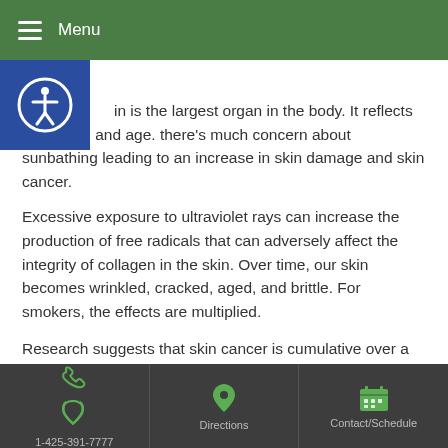≡ Menu
rays.
in is the largest organ in the body. It reflects our health and age. there's much concern about sunbathing leading to an increase in skin damage and skin cancer.
Excessive exposure to ultraviolet rays can increase the production of free radicals that can adversely affect the integrity of collagen in the skin. Over time, our skin becomes wrinkled, cracked, aged, and brittle. For smokers, the effects are multiplied.
Research suggests that skin cancer is cumulative over a lifetime. It begins with overexposure and serious sunburns during childhood.
We can't live without the sun. Our bodies require sunlight in order to manufacture Vitamin D needed for calcium absorption, among other
1-425-391-7777   Directions   Contact/Schedule